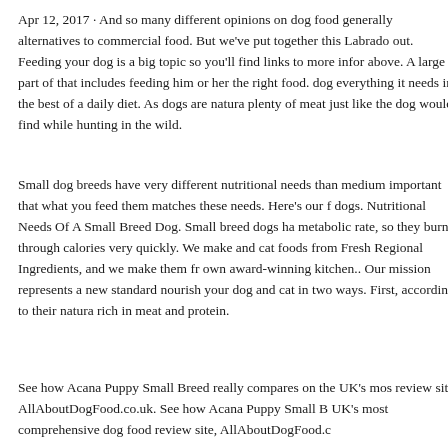Apr 12, 2017 · And so many different opinions on dog food generally alternatives to commercial food. But we've put together this Labrado out. Feeding your dog is a big topic so you'll find links to more infor above. A large part of that includes feeding him or her the right food. dog everything it needs in the best of a daily diet. As dogs are natura plenty of meat just like the dog would find while hunting in the wild.
Small dog breeds have very different nutritional needs than medium important that what you feed them matches these needs. Here's our f dogs. Nutritional Needs Of A Small Breed Dog. Small breed dogs ha metabolic rate, so they burn through calories very quickly. We make and cat foods from Fresh Regional Ingredients, and we make them fr own award-winning kitchen.. Our mission represents a new standard nourish your dog and cat in two ways. First, according to their natura rich in meat and protein.
See how Acana Puppy Small Breed really compares on the UK's mos review site, AllAboutDogFood.co.uk. See how Acana Puppy Small B UK's most comprehensive dog food review site, AllAboutDogFood.c